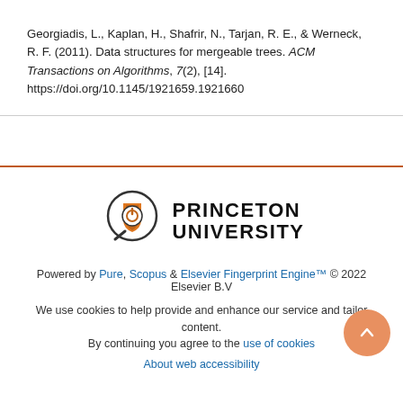Georgiadis, L., Kaplan, H., Shafrir, N., Tarjan, R. E., & Werneck, R. F. (2011). Data structures for mergeable trees. ACM Transactions on Algorithms, 7(2), [14]. https://doi.org/10.1145/1921659.1921660
[Figure (logo): Princeton University logo with magnifying glass icon and text 'PRINCETON UNIVERSITY']
Powered by Pure, Scopus & Elsevier Fingerprint Engine™ © 2022 Elsevier B.V
We use cookies to help provide and enhance our service and tailor content. By continuing you agree to the use of cookies
About web accessibility